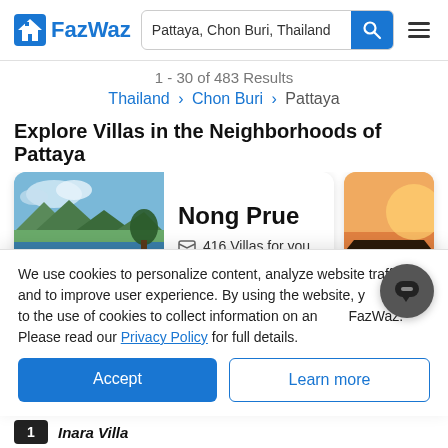[Figure (screenshot): FazWaz real estate website header with logo, search bar for 'Pattaya, Chon Buri, Thailand', blue search button, and hamburger menu icon]
1 - 30 of 483 Results
Thailand > Chon Buri > Pattaya
Explore Villas in the Neighborhoods of Pattaya
[Figure (photo): Neighborhood card showing Nong Prue with a pool villa photo, listing 416 Villas for you, Buy: $67.8K - $5.66M]
We use cookies to personalize content, analyze website traffic, and to improve user experience. By using the website, you agree to the use of cookies to collect information on and off FazWaz. Please read our Privacy Policy for full details.
Accept
Learn more
Inara Villa